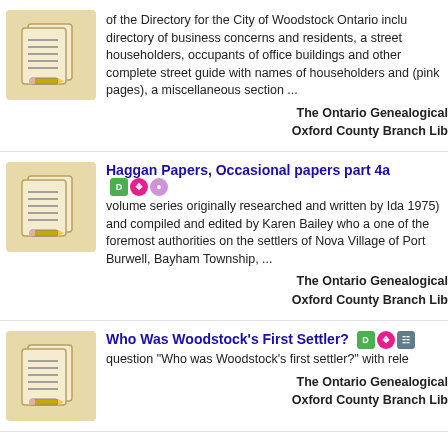[Figure (illustration): Document icon showing two overlapping pages with lined text and a pencil, on a tan/beige background]
of the Directory for the City of Woodstock Ontario inclu directory of business concerns and residents, a street householders, occupants of office buildings and other complete street guide with names of householders and (pink pages), a miscellaneous section ...
The Ontario Genealogical Oxford County Branch Lib
[Figure (illustration): Document icon showing two overlapping pages with lined text and a pencil, on a tan/beige background]
Haggan Papers, Occasional papers part 4a
volume series originally researched and written by Ida 1975) and compiled and edited by Karen Bailey who a one of the foremost authorities on the settlers of Nova Village of Port Burwell, Bayham Township, ...
The Ontario Genealogical Oxford County Branch Lib
[Figure (illustration): Document icon showing two overlapping pages with lined text and a pencil, on a tan/beige background]
Who Was Woodstock's First Settler?
question "Who was Woodstock's first settler?" with rele
The Ontario Genealogical Oxford County Branch Lib